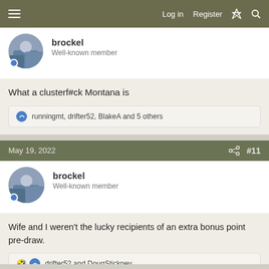Log in  Register
brockel
Well-known member
What a clusterf#ck Montana is
runningmt, drifter52, BlakeA and 5 others
May 19, 2022  #11
brockel
Well-known member
Wife and I weren't the lucky recipients of an extra bonus point pre-draw.
drifter52 and DougStickney